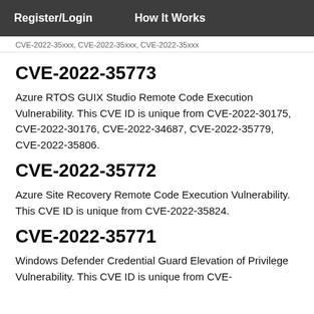Register/Login   How It Works
CVE-2022-35xxx, CVE-2022-35xxx, CVE-2022-35xxx
CVE-2022-35773
Azure RTOS GUIX Studio Remote Code Execution Vulnerability. This CVE ID is unique from CVE-2022-30175, CVE-2022-30176, CVE-2022-34687, CVE-2022-35779, CVE-2022-35806.
CVE-2022-35772
Azure Site Recovery Remote Code Execution Vulnerability. This CVE ID is unique from CVE-2022-35824.
CVE-2022-35771
Windows Defender Credential Guard Elevation of Privilege Vulnerability. This CVE ID is unique from CVE-